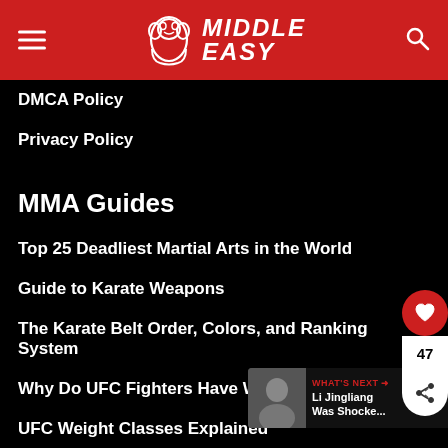[Figure (logo): MiddleEasy website header with red background, hamburger menu on left, gorilla logo with MIDDLE EASY text in center, search icon on right]
DMCA Policy
Privacy Policy
MMA Guides
Top 25 Deadliest Martial Arts in the World
Guide to Karate Weapons
The Karate Belt Order, Colors, and Ranking System
Why Do UFC Fighters Have Weird Ears?
UFC Weight Classes Explained
[Figure (screenshot): What's Next widget showing Li Jingliang Was Shocke... article thumbnail with a fighter photo]